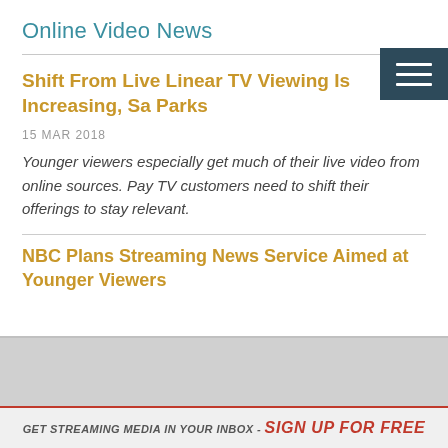Online Video News
Shift From Live Linear TV Viewing Is Increasing, Sa Parks
15 MAR 2018
Younger viewers especially get much of their live video from online sources. Pay TV customers need to shift their offerings to stay relevant.
NBC Plans Streaming News Service Aimed at Younger Viewers
GET STREAMING MEDIA IN YOUR INBOX - SIGN UP FOR FREE